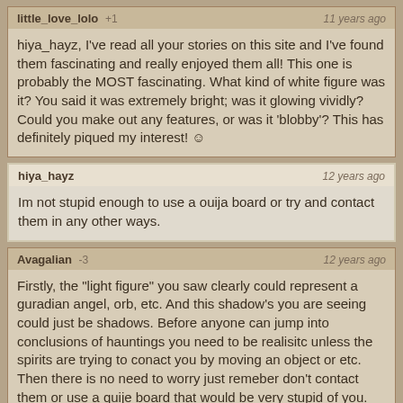little_love_lolo +1 — 11 years ago
hiya_hayz, I've read all your stories on this site and I've found them fascinating and really enjoyed them all! This one is probably the MOST fascinating. What kind of white figure was it? You said it was extremely bright; was it glowing vividly? Could you make out any features, or was it 'blobby'? This has definitely piqued my interest! ☺
hiya_hayz — 12 years ago
Im not stupid enough to use a ouija board or try and contact them in any other ways.
Avagalian -3 — 12 years ago
Firstly, the "light figure" you saw clearly could represent a guradian angel, orb, etc. And this shadow's you are seeing could just be shadows. Before anyone can jump into conclusions of hauntings you need to be realisitc unless the spirits are trying to conact you by moving an object or etc. Then there is no need to worry just remeber don't contact them or use a quije board that would be very stupid of you.